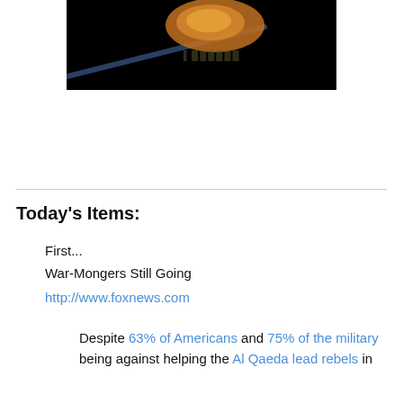[Figure (photo): Dark space/night sky image with an orange and blue streak of light, possibly a meteor or comet, against a black background. Faint text visible in center.]
Today's Items:
First...
War-Mongers Still Going
http://www.foxnews.com
Despite 63% of Americans and 75% of the military being against helping the Al Qaeda lead rebels in